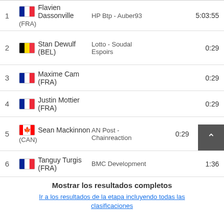| Rank | Rider | Team | Time |
| --- | --- | --- | --- |
| 1 | Flavien Dassonville (FRA) | HP Btp - Auber93 | 5:03:55 |
| 2 | Stan Dewulf (BEL) | Lotto - Soudal Espoirs | 0:29 |
| 3 | Maxime Cam (FRA) |  | 0:29 |
| 4 | Justin Mottier (FRA) |  | 0:29 |
| 5 | Sean Mackinnon (CAN) | AN Post - Chainreaction | 0:29 |
| 6 | Tanguy Turgis (FRA) | BMC Development | 1:36 |
Mostrar los resultados completos
Ir a los resultados de la etapa incluyendo todas las clasificaciones